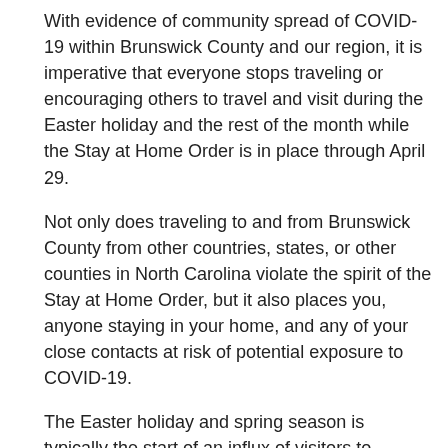With evidence of community spread of COVID-19 within Brunswick County and our region, it is imperative that everyone stops traveling or encouraging others to travel and visit during the Easter holiday and the rest of the month while the Stay at Home Order is in place through April 29.
Not only does traveling to and from Brunswick County from other countries, states, or other counties in North Carolina violate the spirit of the Stay at Home Order, but it also places you, anyone staying in your home, and any of your close contacts at risk of potential exposure to COVID-19.
The Easter holiday and spring season is typically the start of an influx of visitors to Brunswick County. Due to the serious nature of the COVID-19 pandemic, everyone should follow the guidance from NC DHHS, CDC, and the Governor's Office and stay in their primary residence at this time.
“Brunswick County has now had three cases of visitors from other counties or states who later become symptomatic and had to self-isolate here while they recover—meanwhile, any travelers with them must also stay and self-quarantine”